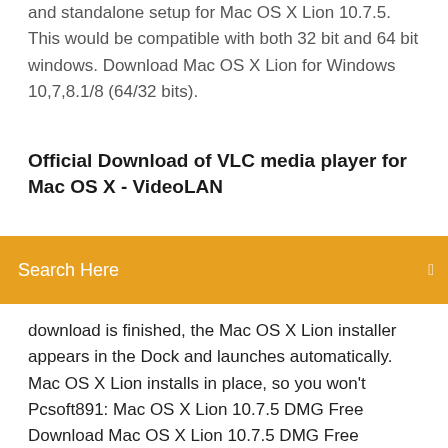and standalone setup for Mac OS X Lion 10.7.5. This would be compatible with both 32 bit and 64 bit windows. Download Mac OS X Lion for Windows 10,7,8.1/8 (64/32 bits).
Official Download of VLC media player for Mac OS X - VideoLAN
[Figure (other): Orange search bar with text 'Search Here' and a search icon on the right]
download is finished, the Mac OS X Lion installer appears in the Dock and launches automatically. Mac OS X Lion installs in place, so you won't Pcsoft891: Mac OS X Lion 10.7.5 DMG Free Download Mac OS X Lion 10.7.5 DMG Free Download Click on below button to start Mac OS X Lion 10.7.5 DMG Free Download. This is complete offline installer and standalone setup for Mac OS X Lion 10.7.5. This would be compatible with both 32 bit and 64 bit windows. Download AVG Antivirus For Mac OS X 10.7.5 | Free Antivirus Download AVG Antivirus For